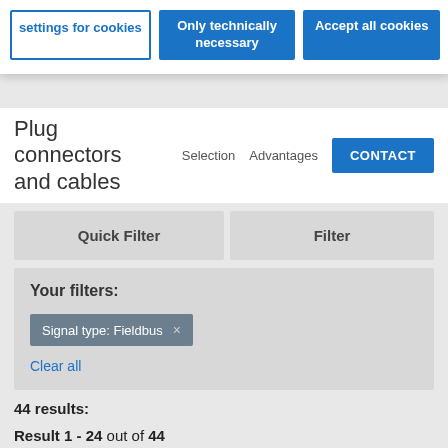[Figure (screenshot): Cookie consent banner with three buttons: 'Settings for cookies' (outlined), 'Only technically necessary' (solid blue), 'Accept all cookies' (solid blue)]
Plug connectors and cables
Selection   Advantages   CONTACT
Quick Filter
Filter
Your filters:
Signal type: Fieldbus ×
Clear all
44 results:
Result 1 - 24 out of 44
01   02   »